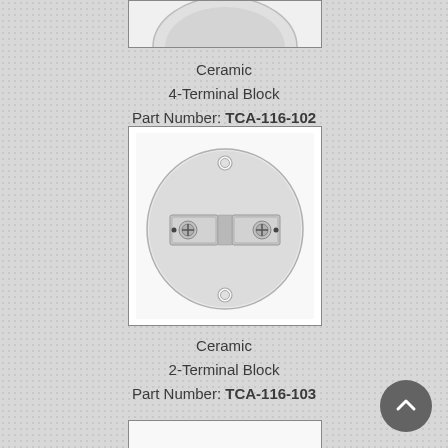[Figure (photo): Partial top cropped photo of a ceramic terminal block product]
Ceramic
4-Terminal Block
Part Number: TCA-116-102
[Figure (photo): Photo of a ceramic 2-terminal block — circular white ceramic disc with two silver screw terminal blocks mounted in the center and two mounting holes]
Ceramic
2-Terminal Block
Part Number: TCA-116-103
[Figure (photo): Partial bottom cropped photo of another ceramic terminal block product]